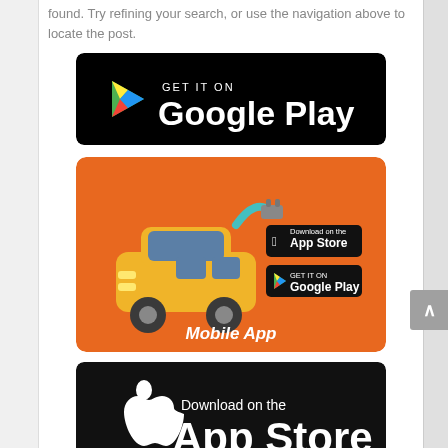found. Try refining your search, or use the navigation above to locate the post.
[Figure (logo): GET IT ON Google Play badge — black rounded rectangle with Google Play logo triangle and white text]
[Figure (illustration): Orange rounded banner with electric car illustration, App Store and Google Play mini badges, and 'Mobile App' label in white italic text]
[Figure (logo): Download on the App Store badge — black rounded rectangle with white Apple logo and white text]